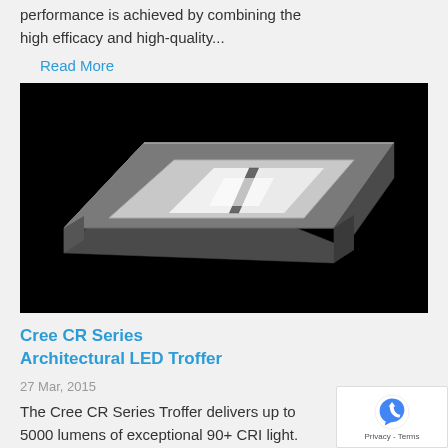performance is achieved by combining the high efficacy and high-quality...
Read More
[Figure (photo): Cree CR Series Architectural LED Troffer product photo on black background, showing a rectangular recessed LED troffer fixture at an angle]
Cree CR Series Architectural LED Troffer
27 Mar, 2015
The Cree CR Series Troffer delivers up to 5000 lumens of exceptional 90+ CRI light. This breakthrough performance is achieved by combining the high efficacy